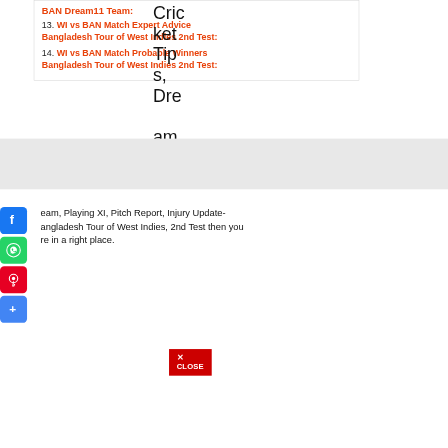BAN Dream11 Team:
13. WI vs BAN Match Expert Advice Bangladesh Tour of West Indies 2nd Test:
14. WI vs BAN Match Probable Winners Bangladesh Tour of West Indies 2nd Test:
Cricket Tips, Dream11
Team, Playing XI, Pitch Report, Injury Update-angladesh Tour of West Indies, 2nd Test then you re in a right place.